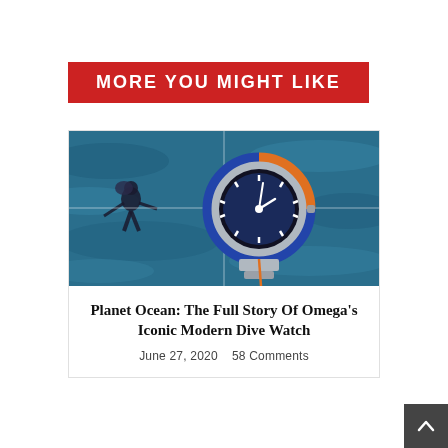MORE YOU MIGHT LIKE
[Figure (photo): Omega Planet Ocean dive watch shown against underwater background with scuba diver, split image showing watch details]
Planet Ocean: The Full Story Of Omega's Iconic Modern Dive Watch
June 27, 2020    58 Comments